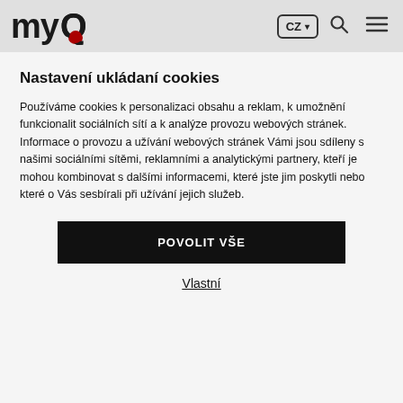myQ — CZ navigation header
Nastavení ukládaní cookies
Používáme cookies k personalizaci obsahu a reklam, k umožnění funkcionalit sociálních sítí a k analýze provozu webových stránek. Informace o provozu a užívání webových stránek Vámi jsou sdíleny s našimi sociálními sítěmi, reklamními a analytickými partnery, kteří je mohou kombinovat s dalšími informacemi, které jste jim poskytli nebo které o Vás sesbírali při užívání jejich služeb.
POVOLIT VŠE
Vlastní